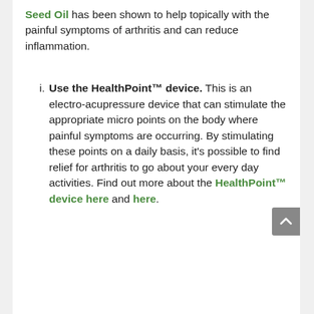Seed Oil has been shown to help topically with the painful symptoms of arthritis and can reduce inflammation.
Use the HealthPoint™ device. This is an electro-acupressure device that can stimulate the appropriate micro points on the body where painful symptoms are occurring. By stimulating these points on a daily basis, it's possible to find relief for arthritis to go about your every day activities. Find out more about the HealthPoint™ device here and here.